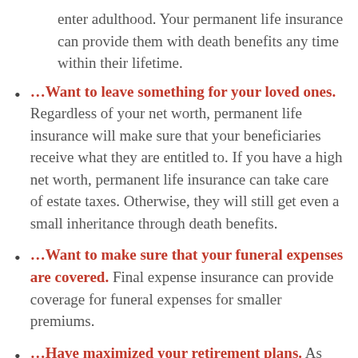enter adulthood. Your permanent life insurance can provide them with death benefits any time within their lifetime.
…Want to leave something for your loved ones. Regardless of your net worth, permanent life insurance will make sure that your beneficiaries receive what they are entitled to. If you have a high net worth, permanent life insurance can take care of estate taxes. Otherwise, they will still get even a small inheritance through death benefits.
…Want to make sure that your funeral expenses are covered. Final expense insurance can provide coverage for funeral expenses for smaller premiums.
…Have maximized your retirement plans. As